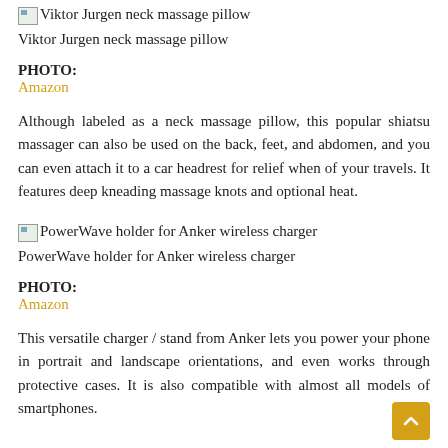[Figure (photo): Broken image placeholder for Viktor Jurgen neck massage pillow]
Viktor Jurgen neck massage pillow
PHOTO:
Amazon
Although labeled as a neck massage pillow, this popular shiatsu massager can also be used on the back, feet, and abdomen, and you can even attach it to a car headrest for relief when of your travels. It features deep kneading massage knots and optional heat.
[Figure (photo): Broken image placeholder for PowerWave holder for Anker wireless charger]
PowerWave holder for Anker wireless charger
PHOTO:
Amazon
This versatile charger / stand from Anker lets you power your phone in portrait and landscape orientations, and even works through protective cases. It is also compatible with almost all models of smartphones.